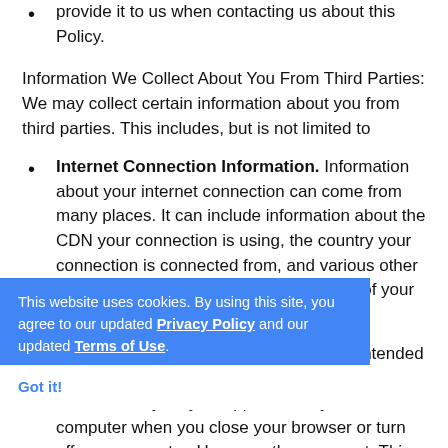provide it to us when contacting us about this Policy.
Information We Collect About You From Third Parties: We may collect certain information about you from third parties. This includes, but is not limited to
Internet Connection Information. Information about your internet connection can come from many places. It can include information about the CDN your connection is using, the country your connection is connected from, and various other information contained in the header files of your internet requests.
Session Cookies. Session cookies are intended to last only for the duration of your online session. They may disappear from your computer when you close your browser or turn off your computer. However, they may not. This can be dependent upon a variety of factors including your browser, internet